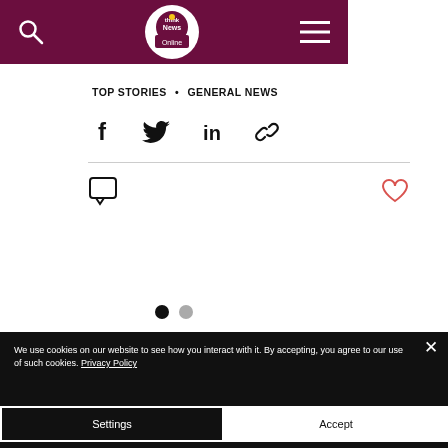Think News Online — navigation header with search, logo, and menu
TOP STORIES · GENERAL NEWS
[Figure (infographic): Social share icons: Facebook, Twitter, LinkedIn, Link]
[Figure (infographic): Comment bubble icon (left) and heart/like icon in red outline (right)]
[Figure (infographic): Carousel pagination dots: one filled black, one grey]
We use cookies on our website to see how you interact with it. By accepting, you agree to our use of such cookies. Privacy Policy
Settings
Accept